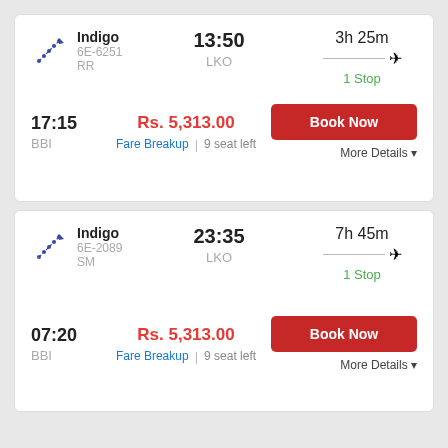Indigo 6E-6251 RR
13:50 LKO
3h 25m 1 Stop
17:15 BBI
Rs. 5,313.00
Fare Breakup | 9 seat left
Book Now
More Details
Indigo 6E-2089 SM
23:35 LKO
7h 45m 1 Stop
07:20 BBI
Rs. 5,313.00
Fare Breakup | 9 seat left
Book Now
More Details